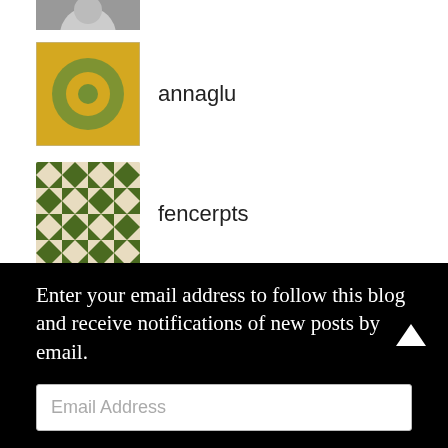[Figure (photo): Partial profile photo at top, cropped]
annaglu
fencerpts
Khoa A. Dao
War and Borscht
2020: A Dumpster Fire Odyssey
Enter your email address to follow this blog and receive notifications of new posts by email.
Email Address